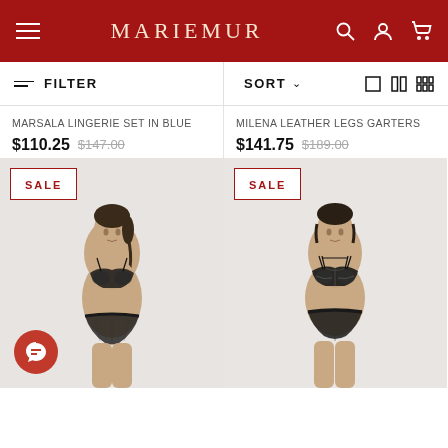MARIEMUR
FILTER | SORT
MARSALA LINGERIE SET IN BLUE
$110.25  $147.00
SALE
[Figure (photo): Female model wearing black sheer lingerie set (bralette and high-waist thong) against light grey background. SALE badge in top left corner.]
MILENA LEATHER LEGS GARTERS
$141.75  $189.00
SALE
[Figure (photo): Female model wearing black structured leather and mesh lingerie set (bra with cage detail and high-waist thong) against light grey background. SALE badge in top left corner.]